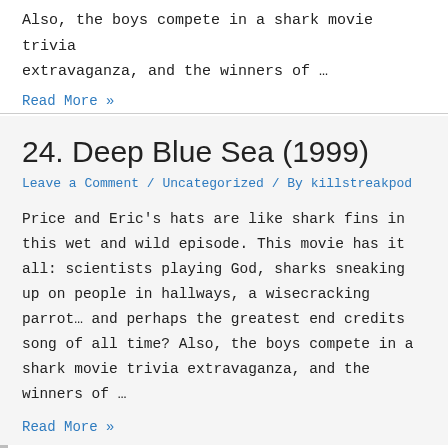Also, the boys compete in a shark movie trivia extravaganza, and the winners of …
Read More »
24. Deep Blue Sea (1999)
Leave a Comment / Uncategorized / By killstreakpod
Price and Eric's hats are like shark fins in this wet and wild episode. This movie has it all: scientists playing God, sharks sneaking up on people in hallways, a wisecracking parrot… and perhaps the greatest end credits song of all time? Also, the boys compete in a shark movie trivia extravaganza, and the winners of …
Read More »